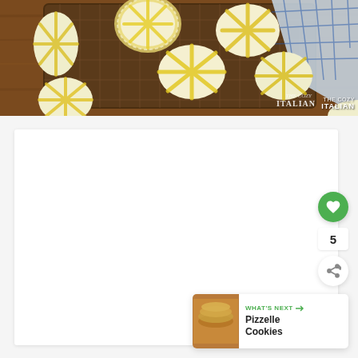[Figure (photo): Yellow and white crinkle cookies (lemon crinkle cookies) arranged on a dark embossed metal baking tray with a blue and white fabric napkin in the corner. Some cookies are also partially visible outside the tray on a wooden surface. Watermark reads 'The Cozy Italian' in bottom right.]
[Figure (screenshot): White content card area below the photo with a green heart/favorite button showing count of 5, a share button, and a 'What's Next' bar showing Pizzelle Cookies with a thumbnail image.]
WHAT'S NEXT
Pizzelle Cookies